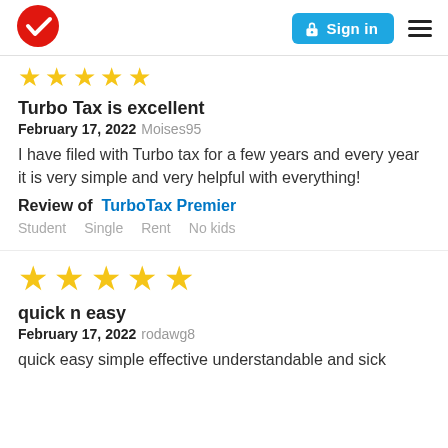TurboTax logo | Sign in | Menu
[Figure (other): 5 yellow star rating icons (partially visible, cropped at top)]
Turbo Tax is excellent
February 17, 2022 Moises95
I have filed with Turbo tax for a few years and every year it is very simple and very helpful with everything!
Review of   TurboTax Premier
Student   Single   Rent   No kids
[Figure (other): 5 yellow star rating icons (full stars)]
quick n easy
February 17, 2022 rodawg8
quick easy simple effective understandable and sick